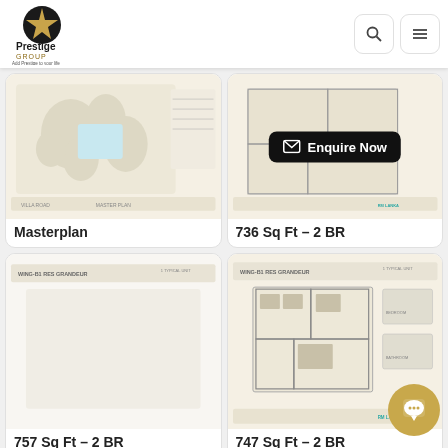[Figure (logo): Prestige Group logo - gold star on black circle with text 'Prestige GROUP Add Prestige to your life']
[Figure (other): Search icon button]
[Figure (other): Menu/hamburger icon button]
[Figure (schematic): Masterplan floor plan image showing site layout]
Masterplan
[Figure (schematic): 736 Sq Ft 2 BR floor plan with Enquire Now overlay button]
736 Sq Ft – 2 BR
[Figure (schematic): 757 Sq Ft 2 BR floor plan - mostly blank/loading]
757 Sq Ft – 2 BR
[Figure (schematic): 747 Sq Ft 2 BR floor plan showing detailed room layout]
747 Sq Ft – 2 BR
[Figure (schematic): Partially visible floor plan card bottom left]
[Figure (schematic): Partially visible floor plan card bottom right]
[Figure (other): Gold chat bubble button bottom right corner]